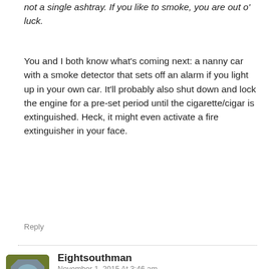not a single ashtray. If you like to smoke, you are out o' luck.
You and I both know what's coming next: a nanny car with a smoke detector that sets off an alarm if you light up in your own car. It'll probably also shut down and lock the engine for a pre-set period until the cigarette/cigar is extinguished. Heck, it might even activate a fire extinguisher in your face.
Reply
Eightsouthman
November 1, 2015 At 3:46 am
Smoke detector, one thing I'd like. I have thought of using a smoke detector to send a signal to my phone to protect CJ when he's in a running pickup. Probably not a big risk from an old Chevy 6.5 Turbo Diesel but just to be safe(not for the kids